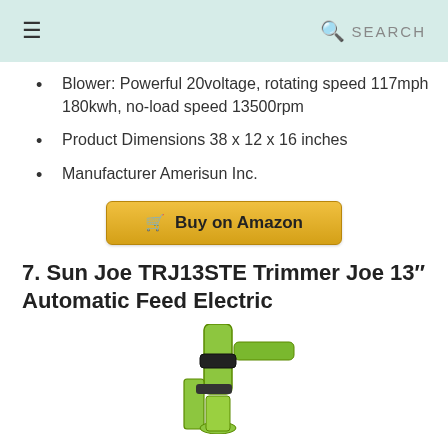☰  🔍 SEARCH
Blower: Powerful 20voltage, rotating speed 117mph 180kwh, no-load speed 13500rpm
Product Dimensions 38 x 12 x 16 inches
Manufacturer Amerisun Inc.
[Figure (other): Buy on Amazon button with shopping cart icon, golden/yellow gradient background]
7. Sun Joe TRJ13STE Trimmer Joe 13″ Automatic Feed Electric
[Figure (photo): Partial image of a Sun Joe TRJ13STE electric string trimmer in green/yellow-green color, showing the handle and upper body portion]